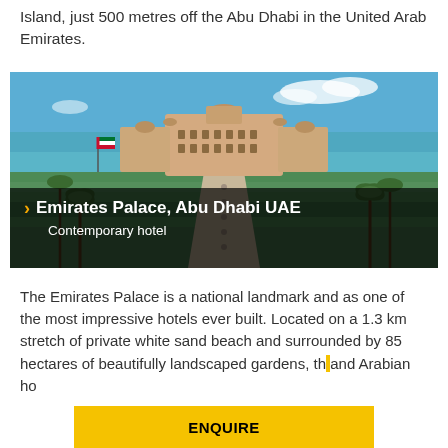Island, just 500 metres off the Abu Dhabi in the United Arab Emirates.
[Figure (photo): Aerial view of Emirates Palace hotel, Abu Dhabi UAE — a large ornate palace building surrounded by landscaped gardens and palm trees, with turquoise sea visible in the background. Overlay text reads: Emirates Palace, Abu Dhabi UAE / Contemporary hotel]
The Emirates Palace is a national landmark and as one of the most impressive hotels ever built. Located on a 1.3 km stretch of private white sand beach and surrounded by 85 hectares of beautifully landscaped gardens, th... and Arabian ho...
ENQUIRE